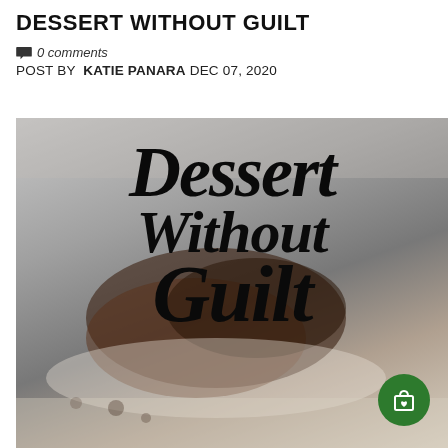DESSERT WITHOUT GUILT
💬 0 comments
POST BY KATIE PANARA DEC 07, 2020
[Figure (photo): Book cover image with cursive script text reading 'Dessert Without Guilt' overlaid on a background showing chocolate desserts. A green circular shopping bag icon button is visible in the bottom right corner.]